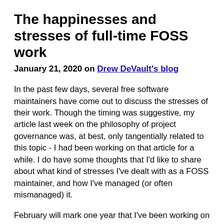The happinesses and stresses of full-time FOSS work
January 21, 2020 on Drew DeVault's blog
In the past few days, several free software maintainers have come out to discuss the stresses of their work. Though the timing was suggestive, my article last week on the philosophy of project governance was, at best, only tangentially related to this topic - I had been working on that article for a while. I do have some thoughts that I'd like to share about what kind of stresses I've dealt with as a FOSS maintainer, and how I've managed (or often mismanaged) it.
February will mark one year that I've been working on self-directed free software projects full-time. I was planning on writing an optimistic retrospective article around this time, but given the current mood of the ecosystem I think it would be better to be realistic. In this stage of my career, I now feel at once happier, busier, more fulfilled, more engaged, more stressed, and more depressed than I have